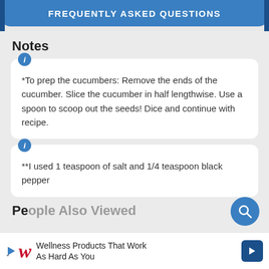FREQUENTLY ASKED QUESTIONS
Notes
*To prep the cucumbers: Remove the ends of the cucumber. Slice the cucumber in half lengthwise. Use a spoon to scoop out the seeds! Dice and continue with recipe.
**I used 1 teaspoon of salt and 1/4 teaspoon black pepper
People Also Viewed
Wellness Products That Work As Hard As You